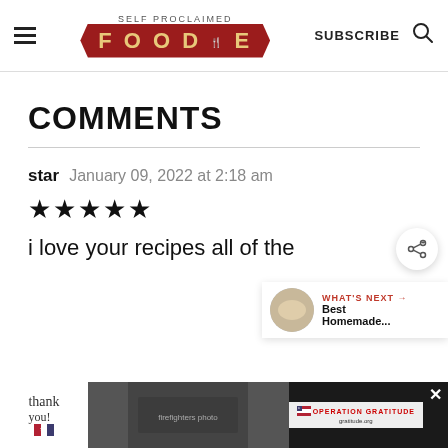SELF PROCLAIMED FOODIE — SUBSCRIBE
COMMENTS
star   January 09, 2022 at 2:18 am
★★★★★
i love your recipes all of the
[Figure (screenshot): WHAT'S NEXT → Best Homemade... widget with circular food image]
[Figure (photo): Advertisement bar: Thank you / Operation Gratitude ad with firefighters photo]